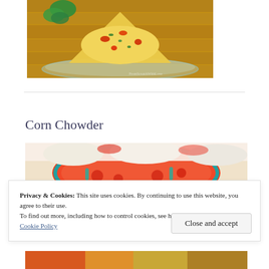[Figure (photo): A slice of egg frittata or quiche with red peppers and herbs, served on a glass plate, garnished with fresh basil]
Corn Chowder
[Figure (photo): Colorful decorated bowls with corn chowder soup, top portion visible with red and teal patterned bowl]
Privacy & Cookies: This site uses cookies. By continuing to use this website, you agree to their use.
To find out more, including how to control cookies, see here:
Cookie Policy
[Figure (photo): Bottom strip of another food image partially visible]